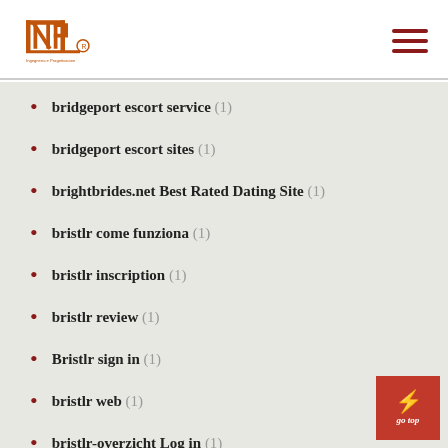INP logo and navigation
bridgeport escort service (1)
bridgeport escort sites (1)
brightbrides.net Best Rated Dating Site (1)
bristlr come funziona (1)
bristlr inscription (1)
bristlr review (1)
Bristlr sign in (1)
bristlr web (1)
bristlr-overzicht Log in (1)
british-chat-rooms dating (1)
british-dating reviews (1)